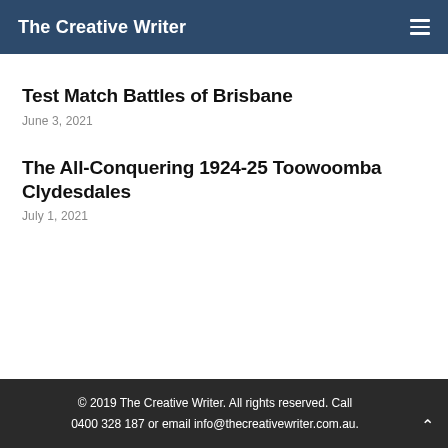The Creative Writer
Test Match Battles of Brisbane
June 3, 2021
The All-Conquering 1924-25 Toowoomba Clydesdales
July 1, 2021
© 2019 The Creative Writer. All rights reserved. Call 0400 328 187 or email info@thecreativewriter.com.au.